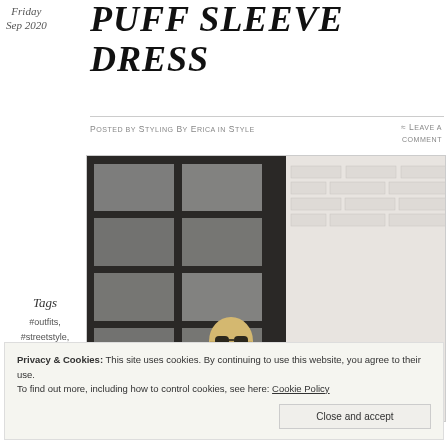Friday
Sep 2020
PUFF SLEEVE DRESS
Posted by Styling By Erica in Style
≈ Leave a comment
Tags
#outfits,
#streetstyle,
#stylingtips,
#dresses,
[Figure (photo): Blonde woman wearing sunglasses standing in front of large black-framed windows with white brick wall visible on the right]
Privacy & Cookies: This site uses cookies. By continuing to use this website, you agree to their use.
To find out more, including how to control cookies, see here: Cookie Policy
Close and accept